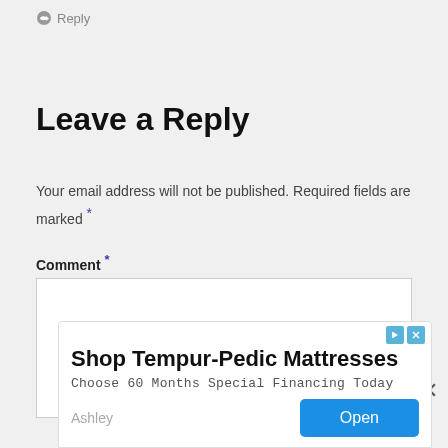Reply
Leave a Reply
Your email address will not be published. Required fields are marked *
Comment *
[Figure (screenshot): Empty comment textarea input box]
[Figure (screenshot): Advertisement banner: Shop Tempur-Pedic Mattresses, Choose 60 Months Special Financing Today, Ashley brand, Open button]